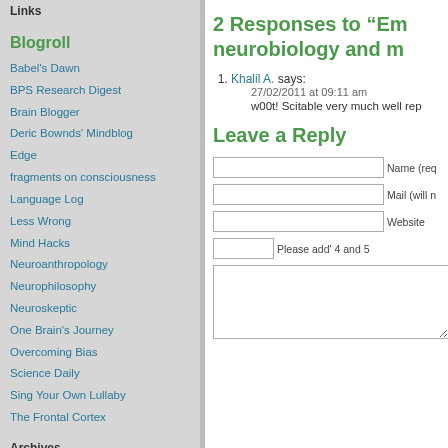Links
Blogroll
Babel's Dawn
BPS Research Digest
Brain Blogger
Deric Bownds' Mindblog
Edge
fragments on consciousness
Language Log
Less Wrong
Mind Hacks
Neuroanthropology
Neurophilosophy
Neuroskeptic
One Brain's Journey
Overcoming Bias
Science Daily
Sing Your Own Lullaby
The Frontal Cortex
Archives
2 Responses to “Em... neurobiology and m...
Khalil A. says: 27/02/2011 at 09:11 am w00t! Scitable very much well rep...
Leave a Reply